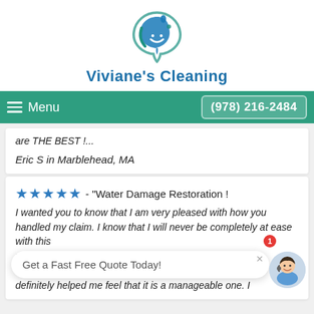[Figure (logo): Viviane's Cleaning company logo — circular teal/blue wave design with water drop]
Viviane's Cleaning
Menu   (978) 216-2484
are THE BEST !...
Eric S in Marblehead, MA
★★★★★ - "Water Damage Restoration ! I wanted you to know that I am very pleased with how you handled my claim. I know that I will never be completely at ease with this mitigation... definitely helped me feel that it is a manageable one. I
Get a Fast Free Quote Today!